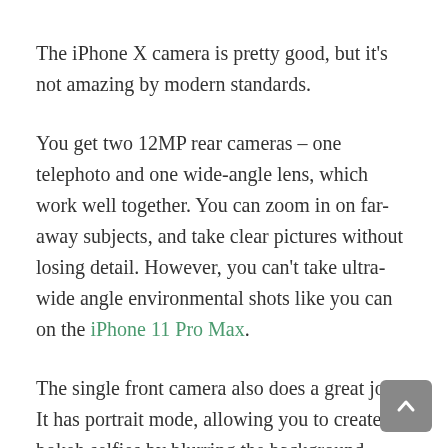The iPhone X camera is pretty good, but it's not amazing by modern standards.
You get two 12MP rear cameras – one telephoto and one wide-angle lens, which work well together. You can zoom in on far-away subjects, and take clear pictures without losing detail. However, you can't take ultra-wide angle environmental shots like you can on the iPhone 11 Pro Max.
The single front camera also does a great job. It has portrait mode, allowing you to create bokeh selfies by blurring the background behind you. This was the first iPhone with a TrueDepth selfie camera, enabling you to use Face ID, as well as